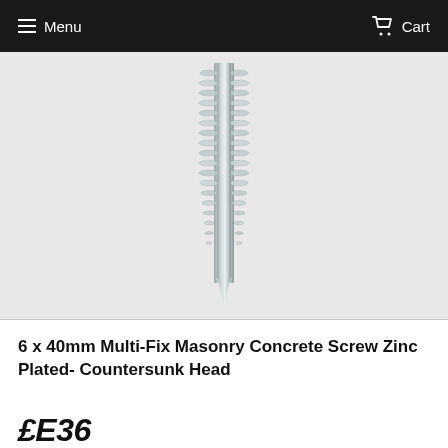Menu  Cart
[Figure (photo): A zinc-plated masonry concrete screw with countersunk head and helical thread, shown vertically against a light gray background.]
6 x 40mm Multi-Fix Masonry Concrete Screw Zinc Plated- Countersunk Head
£E36